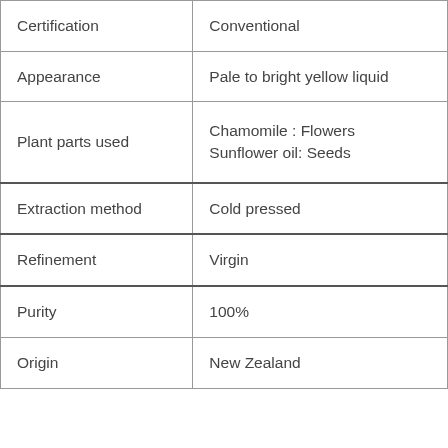| Certification | Conventional |
| Appearance | Pale to bright yellow liquid |
| Plant parts used | Chamomile : Flowers
Sunflower oil: Seeds |
| Extraction method | Cold pressed |
| Refinement | Virgin |
| Purity | 100% |
| Origin | New Zealand |